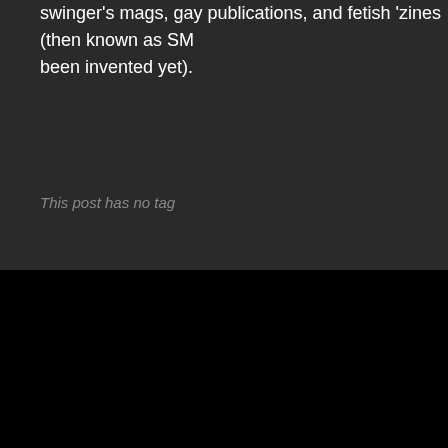swinger's mags, gay publications, and fetish 'zines (then known as SM been invented yet).
This post has no tag